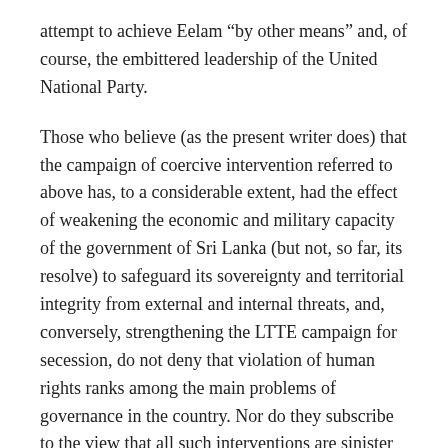attempt to achieve Eelam “by other means” and, of course, the embittered leadership of the United National Party.
Those who believe (as the present writer does) that the campaign of coercive intervention referred to above has, to a considerable extent, had the effect of weakening the economic and military capacity of the government of Sri Lanka (but not, so far, its resolve) to safeguard its sovereignty and territorial integrity from external and internal threats, and, conversely, strengthening the LTTE campaign for secession, do not deny that violation of human rights ranks among the main problems of governance in the country. Nor do they subscribe to the view that all such interventions are sinister in motive, and that constructive and well-informed humanitarian intervention is of